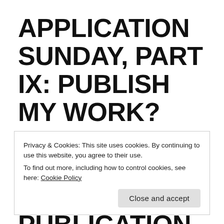APPLICATION SUNDAY, PART IX: PUBLISH MY WORK? THANKS, BUT NO THANKS: A VANITY PUBLICATION CAUTIONARY TALE
Privacy & Cookies: This site uses cookies. By continuing to use this website, you agree to their use.
To find out more, including how to control cookies, see here: Cookie Policy
Close and accept